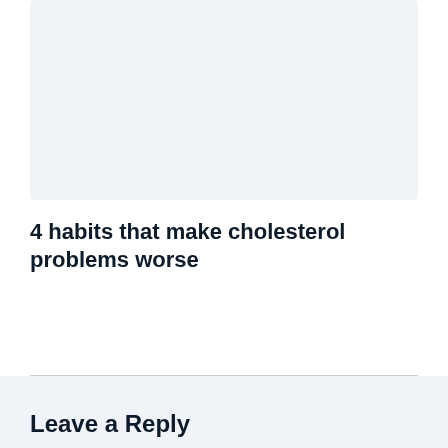[Figure (other): Light blue-gray placeholder image area at top of page]
4 habits that make cholesterol problems worse
Leave a Reply